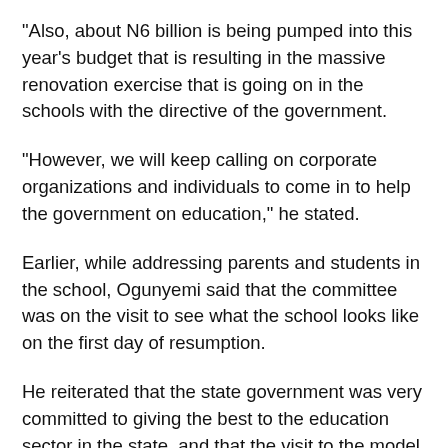"Also, about N6 billion is being pumped into this year's budget that is resulting in the massive renovation exercise that is going on in the schools with the directive of the government.
"However, we will keep calling on corporate organizations and individuals to come in to help the government on education," he stated.
Earlier, while addressing parents and students in the school, Ogunyemi said that the committee was on the visit to see what the school looks like on the first day of resumption.
He reiterated that the state government was very committed to giving the best to the education sector in the state, and that the visit to the model college would be the first by the committee.